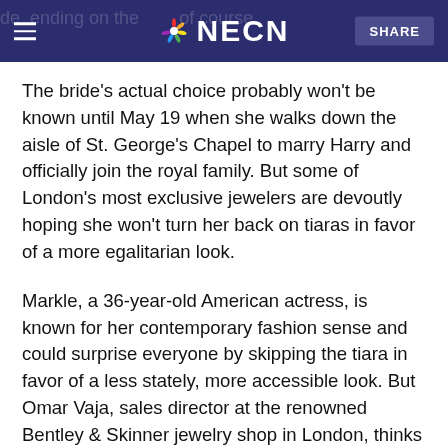NECN SHARE
The bride's actual choice probably won't be known until May 19 when she walks down the aisle of St. George's Chapel to marry Harry and officially join the royal family. But some of London's most exclusive jewelers are devoutly hoping she won't turn her back on tiaras in favor of a more egalitarian look.
Markle, a 36-year-old American actress, is known for her contemporary fashion sense and could surprise everyone by skipping the tiara in favor of a less stately, more accessible look. But Omar Vaja, sales director at the renowned Bentley & Skinner jewelry shop in London, thinks she will follow tradition.